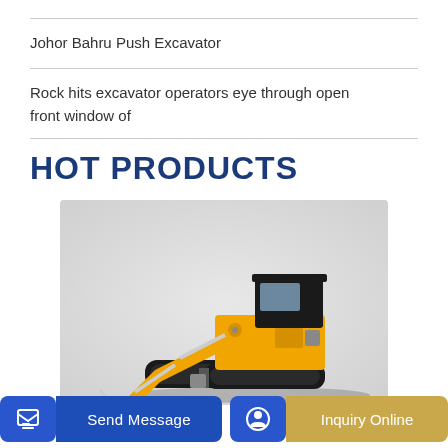Johor Bahru Push Excavator
Rock hits excavator operators eye through open front window of
HOT PRODUCTS
[Figure (photo): Mini excavator with yellow and black color scheme, showing articulated arm with bucket attachment, on white/grey background]
Send Message
Inquiry Online